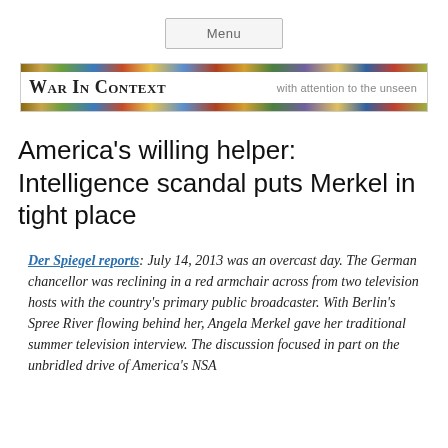Menu
War in Context — with attention to the unseen
America's willing helper: Intelligence scandal puts Merkel in tight place
Der Spiegel reports: July 14, 2013 was an overcast day. The German chancellor was reclining in a red armchair across from two television hosts with the country's primary public broadcaster. With Berlin's Spree River flowing behind her, Angela Merkel gave her traditional summer television interview. The discussion focused in part on the unbridled drive of America's NSA